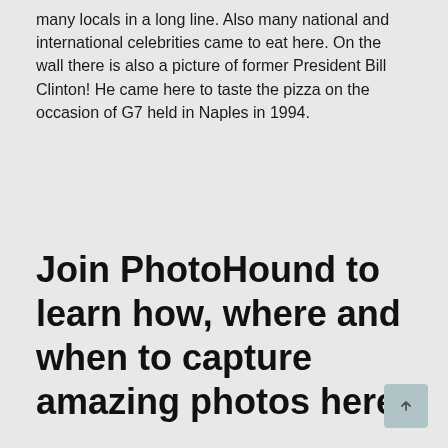many locals in a long line. Also many national and international celebrities came to eat here. On the wall there is also a picture of former President Bill Clinton! He came here to taste the pizza on the occasion of G7 held in Naples in 1994.
Join PhotoHound to learn how, where and when to capture amazing photos here